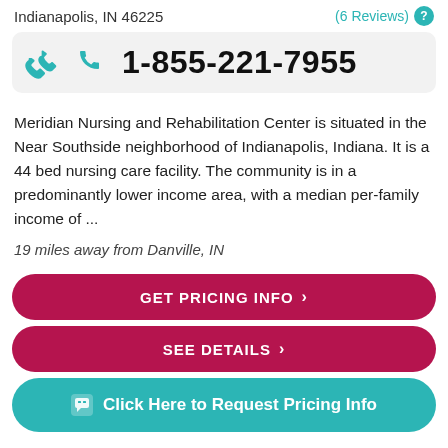Indianapolis, IN 46225
(6 Reviews)
1-855-221-7955
Meridian Nursing and Rehabilitation Center is situated in the Near Southside neighborhood of Indianapolis, Indiana. It is a 44 bed nursing care facility. The community is in a predominantly lower income area, with a median per-family income of ...
19 miles away from Danville, IN
GET PRICING INFO ›
SEE DETAILS ›
Click Here to Request Pricing Info